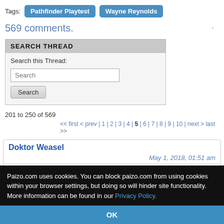Tags: Pathfinder Playtest   Wayne Reynolds
569 comments.
SEARCH THREAD
Search this Thread:
201 to 250 of 569
<< first < prev | 1 | 2 | 3 | 4 | 5 | 6 | 7 | 8 | 9 | 10 | next > last >>
Doktor Weasel
May 1, 2018, 01:51 am
dysartes
3 people marked this as a favorite.
Paizo.com uses cookies. You can block paizo.com from using cookies within your browser settings, but doing so will hinder site functionality. More information can be found in our Privacy Policy.
OK